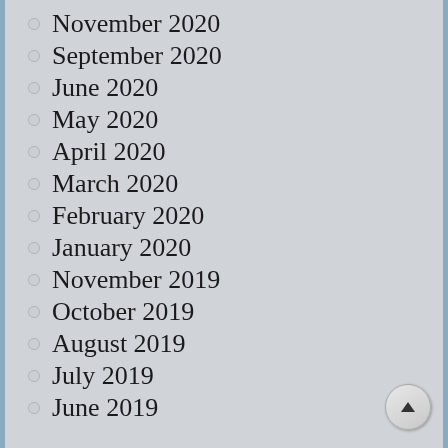November 2020
September 2020
June 2020
May 2020
April 2020
March 2020
February 2020
January 2020
November 2019
October 2019
August 2019
July 2019
June 2019